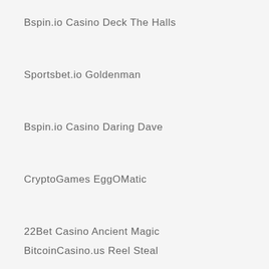Bspin.io Casino Deck The Halls
Sportsbet.io Goldenman
Bspin.io Casino Daring Dave
CryptoGames EggOMatic
22Bet Casino Ancient Magic
BitcoinCasino.us Reel Steal
[Figure (other): Blue button with phone icon and text 'Обратный звонок' (Callback)]